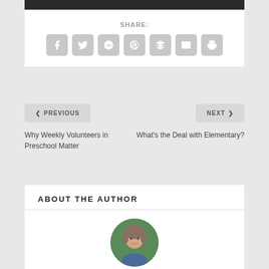[Figure (other): Dark header bar at top of content area]
SHARE:
[Figure (other): Social share icons: Facebook, Twitter, Google+, Pinterest, Buffer, Email, Print]
< PREVIOUS
NEXT >
Why Weekly Volunteers in Preschool Matter
What’s the Deal with Elementary?
ABOUT THE AUTHOR
[Figure (photo): Author portrait photo, woman with shoulder-length hair, outdoor background]